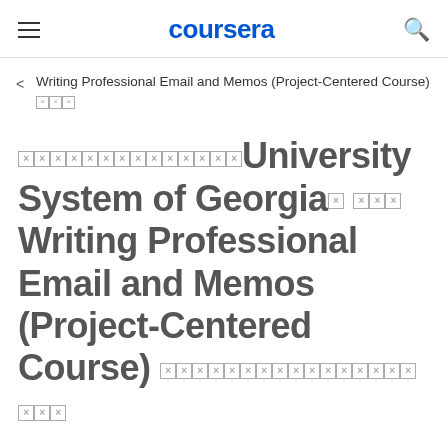coursera
Writing Professional Email and Memos (Project-Centered Course) □□□
□□□□□□□□□□□□□□University System of Georgia□ □□□ Writing Professional Email and Memos (Project-Centered Course) □□□□□□□□□□□□□□□□□□□